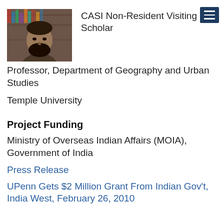[Figure (photo): Portrait photo of a bearded man in front of bookshelves]
CASI Non-Resident Visiting Scholar
Professor, Department of Geography and Urban Studies
Temple University
Project Funding
Ministry of Overseas Indian Affairs (MOIA), Government of India
Press Release
UPenn Gets $2 Million Grant From Indian Gov't, India West, February 26, 2010